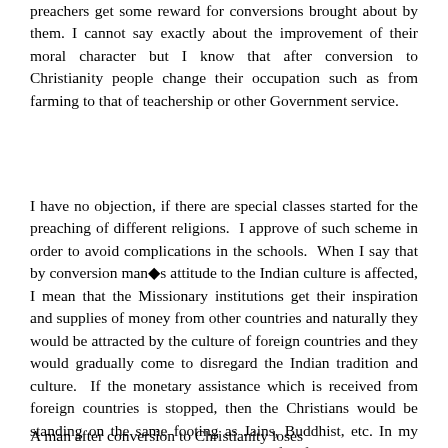preachers get some reward for conversions brought about by them. I cannot say exactly about the improvement of their moral character but I know that after conversion to Christianity people change their occupation such as from farming to that of teachership or other Government service.
I have no objection, if there are special classes started for the preaching of different religions.  I approve of such scheme in order to avoid complications in the schools.  When I say that by conversion man◆s attitude to the Indian culture is affected, I mean that the Missionary institutions get their inspiration and supplies of money from other countries and naturally they would be attracted by the culture of foreign countries and they would gradually come to disregard the Indian tradition and culture.  If the monetary assistance which is received from foreign countries is stopped, then the Christians would be standing on the same footing as Jains, Buddhist, etc. In my opinion, an Indian national has got the full freedom under the Constitution to preach and propagate his religion, but a foreigner is not entitled to such privileges.
A man after conversion to Christianity loses